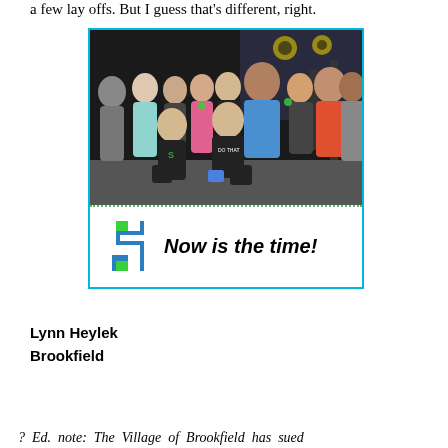a few lay offs. But I guess that's different, right.
[Figure (photo): Group photo of gym members and trainers flexing their muscles in a dark gym setting, with a logo and tagline 'Now is the time!' below the photo, enclosed in a cyan border with a green dotted line separator.]
Lynn Heylek
Brookfield
? Ed. note: The Village of Brookfield has sued